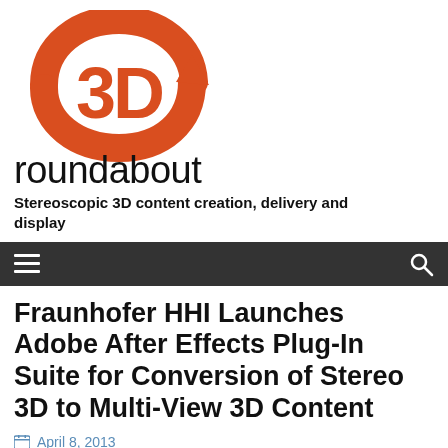[Figure (logo): 3D Roundabout logo — large orange '3D' text with a circular arrow around it, followed by 'roundabout' in black below]
Stereoscopic 3D content creation, delivery and display
[Figure (infographic): Dark navigation bar with hamburger menu icon on left and search magnifier icon on right]
Fraunhofer HHI Launches Adobe After Effects Plug-In Suite for Conversion of Stereo 3D to Multi-View 3D Content
April 8, 2013
Bbooth C7843